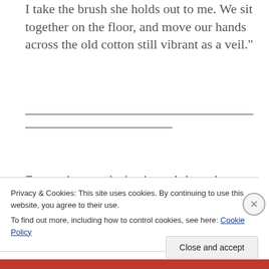I take the brush she holds out to me. We sit together on the floor, and move our hands across the old cotton still vibrant as a veil."
Traumas is taut, cohesive, image-laden and
Privacy & Cookies: This site uses cookies. By continuing to use this website, you agree to their use.
To find out more, including how to control cookies, see here: Cookie Policy